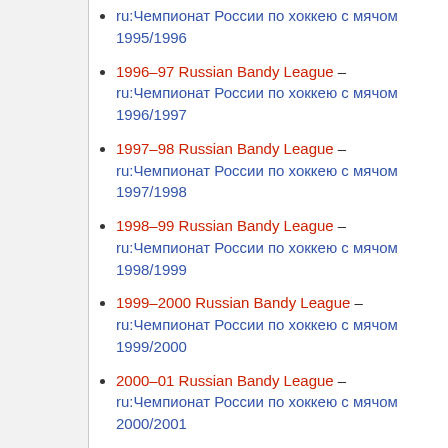1996–97 Russian Bandy League – ru:Чемпионат России по хоккею с мячом 1996/1997
1997–98 Russian Bandy League – ru:Чемпионат России по хоккею с мячом 1997/1998
1998–99 Russian Bandy League – ru:Чемпионат России по хоккею с мячом 1998/1999
1999–2000 Russian Bandy League – ru:Чемпионат России по хоккею с мячом 1999/2000
2000–01 Russian Bandy League – ru:Чемпионат России по хоккею с мячом 2000/2001
2001–02 Russian Bandy League – ru:Чемпионат России по хоккею с мячом 2001/2002